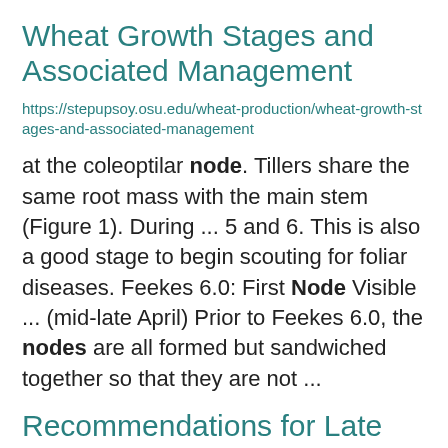Wheat Growth Stages and Associated Management
https://stepupsoy.osu.edu/wheat-production/wheat-growth-stages-and-associated-management
at the coleoptilar node. Tillers share the same root mass with the main stem (Figure 1). During ... 5 and 6. This is also a good stage to begin scouting for foliar diseases. Feekes 6.0: First Node Visible ... (mid-late April) Prior to Feekes 6.0, the nodes are all formed but sandwiched together so that they are not ...
Recommendations for Late Planted